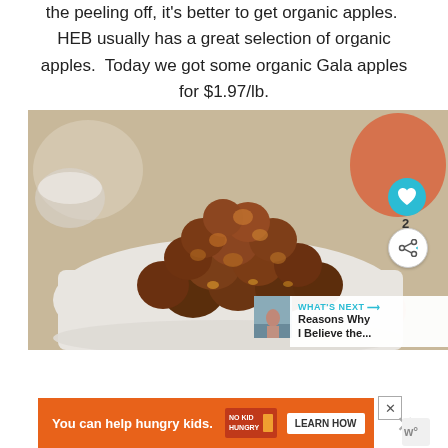the peeling off, it's better to get organic apples. HEB usually has a great selection of organic apples. Today we got some organic Gala apples for $1.97/lb.
[Figure (photo): A plate piled high with browned, crispy meatballs or fritters on a white rectangular plate, with pumpkins and autumn decor in the background. Overlay elements include a teal heart button, a share button with count '2', a 'What's Next' panel showing 'Reasons Why I Believe the...' with a thumbnail.]
You can help hungry kids. NO KID HUNGRY LEARN HOW